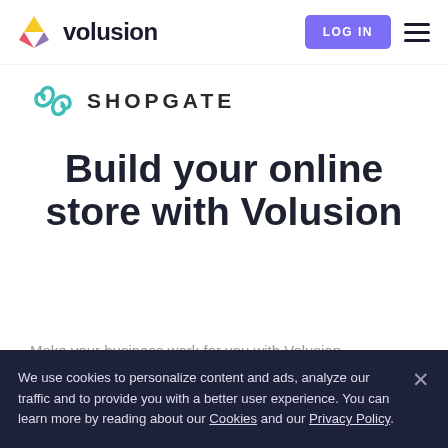[Figure (logo): Volusion logo: colorful geometric V shape and 'volusion' wordmark in dark text, with LOG IN button and hamburger menu on the right]
[Figure (logo): Shopgate logo: teal infinity/leaf double-loop icon with 'SHOPGATE' text in dark bold uppercase letters]
Build your online store with Volusion
Make your business work for you with Volusion
We use cookies to personalize content and ads, analyze our traffic and to provide you with a better user experience. You can learn more by reading about our Cookies and our Privacy Policy.